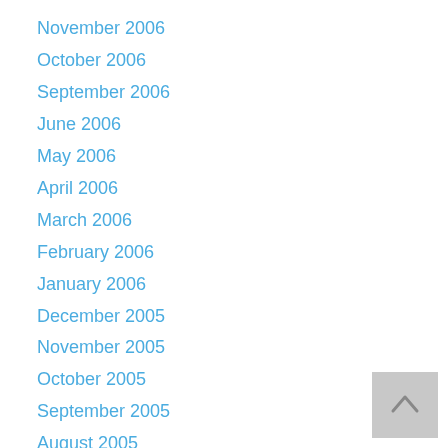November 2006
October 2006
September 2006
June 2006
May 2006
April 2006
March 2006
February 2006
January 2006
December 2005
November 2005
October 2005
September 2005
August 2005
June 2005
May 2005
March 2005